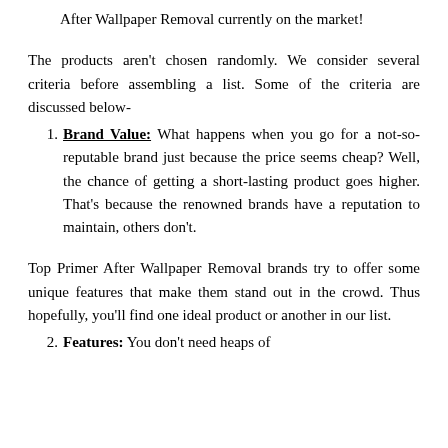After Wallpaper Removal currently on the market!
The products aren't chosen randomly. We consider several criteria before assembling a list. Some of the criteria are discussed below-
Brand Value: What happens when you go for a not-so-reputable brand just because the price seems cheap? Well, the chance of getting a short-lasting product goes higher. That's because the renowned brands have a reputation to maintain, others don't.
Top Primer After Wallpaper Removal brands try to offer some unique features that make them stand out in the crowd. Thus hopefully, you'll find one ideal product or another in our list.
Features: You don't need heaps of